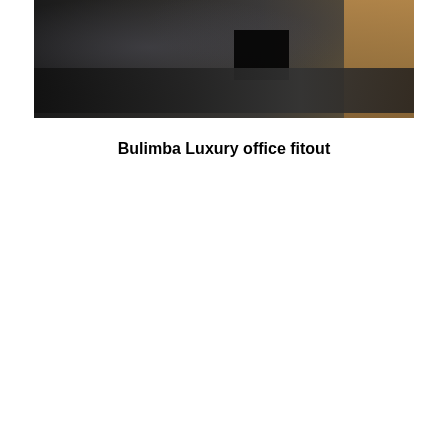[Figure (photo): Interior photograph of a luxury office fitout at Bulimba, showing a dark-toned reception or work area with glass panels, a black monitor or display unit, overhead equipment, and a warm wood-paneled wall on the right side.]
Bulimba Luxury office fitout